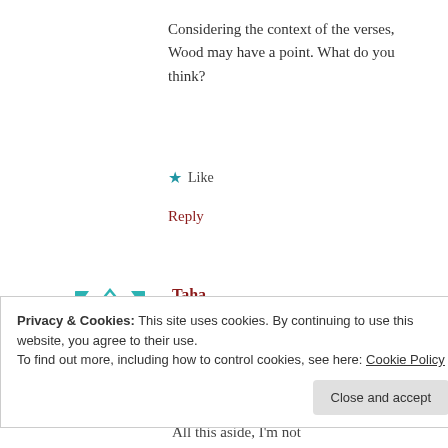Considering the context of the verses, Wood may have a point. What do you think?
★ Like
Reply
[Figure (illustration): Teal geometric patterned avatar icon for user Taha]
Taha
September 17, 2020 at 2:46 am
Someone already linked one of this person's videos on the
Privacy & Cookies: This site uses cookies. By continuing to use this website, you agree to their use.
To find out more, including how to control cookies, see here: Cookie Policy
Close and accept
All this aside, I'm not